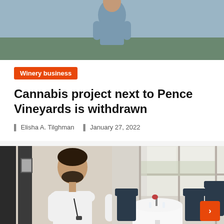[Figure (photo): A person standing in a field or vineyard landscape, viewed from torso up, blue-grey clothing]
Winery business
Cannabis project next to Pence Vineyards is withdrawn
Elisha A. Tilghman   January 27, 2022
[Figure (photo): Split image: left side shows a man in white chef's coat; right side shows a restaurant dining room with white tablecloth table and dark chairs near windows]